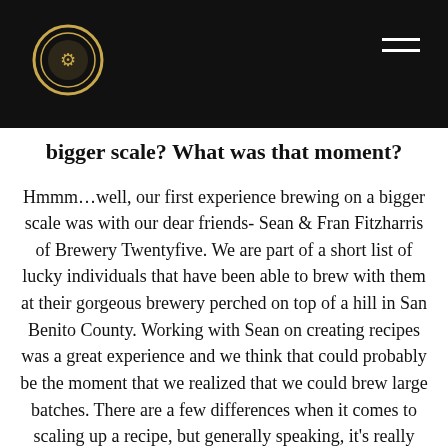[Brewery logo and navigation bar]
bigger scale? What was that moment?
Hmmm…well, our first experience brewing on a bigger scale was with our dear friends- Sean & Fran Fitzharris of Brewery Twentyfive. We are part of a short list of lucky individuals that have been able to brew with them at their gorgeous brewery perched on top of a hill in San Benito County. Working with Sean on creating recipes was a great experience and we think that could probably be the moment that we realized that we could brew large batches. There are a few differences when it comes to scaling up a recipe, but generally speaking, it's really not that much different than